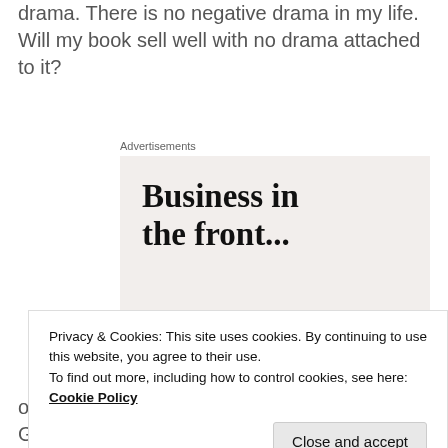writing and publishing of this book has no negative drama. There is no negative drama in my life. Will my book sell well with no drama attached to it?
[Figure (screenshot): Advertisement banner for WordPress. Top half on light beige background reads 'Business in the front...' in large bold serif text. Bottom half on orange gradient background with decorative circles reads 'WordPress in the back.' in large bold serif text. Label 'Advertisements' appears above.]
Privacy & Cookies: This site uses cookies. By continuing to use this website, you agree to their use.
To find out more, including how to control cookies, see here: Cookie Policy
opinion in 1937, she said: "What that Eddie Green is